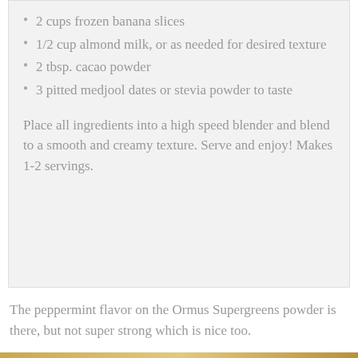2 cups frozen banana slices
1/2 cup almond milk, or as needed for desired texture
2 tbsp. cacao powder
3 pitted medjool dates or stevia powder to taste
Place all ingredients into a high speed blender and blend to a smooth and creamy texture. Serve and enjoy! Makes 1-2 servings.
The peppermint flavor on the Ormus Supergreens powder is there, but not super strong which is nice too.